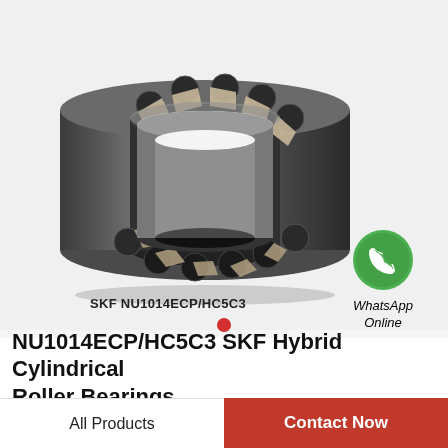[Figure (photo): SKF NU1014ECP/HC5C3 hybrid cylindrical roller bearing with dark gray steel outer ring and ceramic rolling elements with beige/tan colored cage segments visible]
[Figure (logo): WhatsApp green circle icon with phone handset symbol, labeled 'WhatsApp Online' in italic text]
SKF NU1014ECP/HC5C3
NU1014ECP/HC5C3 SKF Hybrid Cylindrical Roller Bearings
All Products
Contact Now